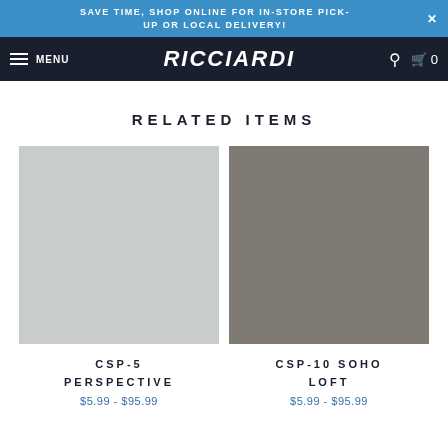SAVE TIME, SHOP ONLINE FOR IN-STORE PICK-UP OR LOCAL DELIVERY!
MENU RICCIARDI
RELATED ITEMS
[Figure (photo): Light gray paint color swatch square for CSP-5 Perspective]
CSP-5 PERSPECTIVE
$5.99 - $95.99
[Figure (photo): Medium gray/taupe paint color swatch square for CSP-10 Soho Loft]
CSP-10 SOHO LOFT
$5.99 - $95.99